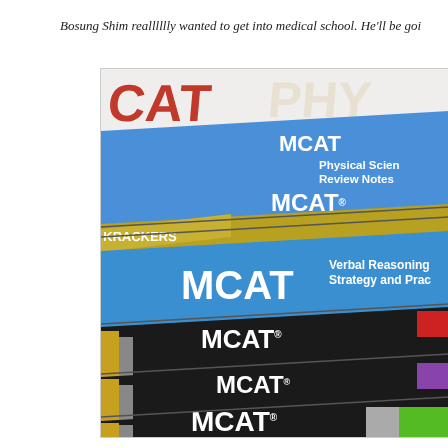Bosung Shim realllllly wanted to get into medical school. He'll be goi
[Figure (photo): A stack of MCAT study prep books photographed from the side showing their spines. Books visible include: MCAT Physical Science Review Notes, MCAT Verbal Reasoning Strategy and Practice, and multiple MCAT branded books (dark/black covers with MCAT in white text). Also visible is a Krackers MCAT book and partial text reading CAT and PHY at the top.]